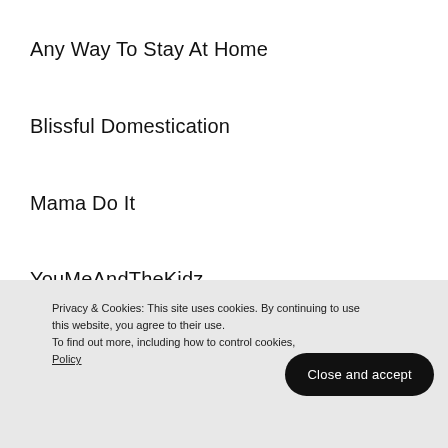Any Way To Stay At Home
Blissful Domestication
Mama Do It
YouMeAndTheKidz
Me, Them and the Others
Tired But Crafty Mummy
Privacy & Cookies: This site uses cookies. By continuing to use this website, you agree to their use.
To find out more, including how to control cookies, see here: Cookie Policy
Close and accept